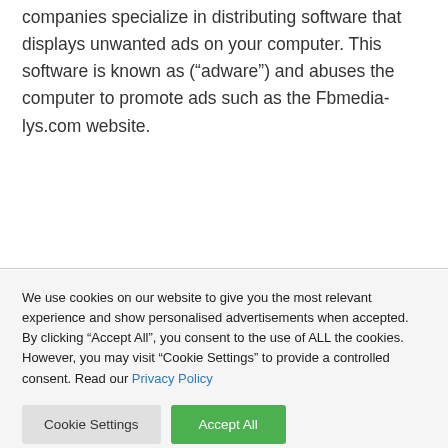companies specialize in distributing software that displays unwanted ads on your computer. This software is known as (“adware”) and abuses the computer to promote ads such as the Fbmedia-lys.com website.
We use cookies on our website to give you the most relevant experience and show personalised advertisements when accepted. By clicking “Accept All”, you consent to the use of ALL the cookies. However, you may visit “Cookie Settings” to provide a controlled consent. Read our Privacy Policy